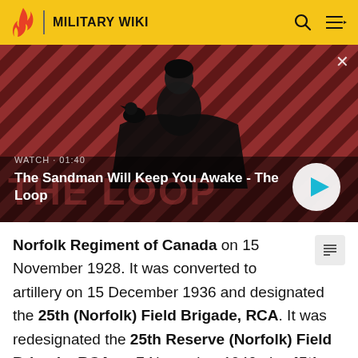MILITARY WIKI
[Figure (screenshot): Video thumbnail showing a dark-caped figure with a raven on shoulder against a red diagonal-striped background. WATCH · 01:40. Title: The Sandman Will Keep You Awake - The Loop]
WATCH · 01:40
The Sandman Will Keep You Awake - The Loop
Norfolk Regiment of Canada on 15 November 1928. It was converted to artillery on 15 December 1936 and designated the 25th (Norfolk) Field Brigade, RCA. It was redesignated the 25th Reserve (Norfolk) Field Brigade, RCA on 7 November 1940, the 45th Reserve